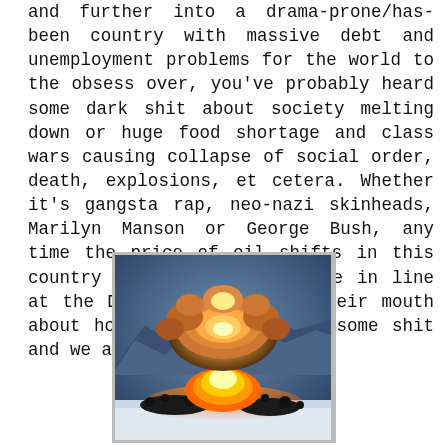and further into a drama-prone/has-been country with massive debt and unemployment problems for the world to the obsess over, you've probably heard some dark shit about society melting down or huge food shortage and class wars causing collapse of social order, death, explosions, et cetera. Whether it's gangsta rap, neo-nazi skinheads, Marilyn Manson or George Bush, any time the price of oil shifts in this country suddenly some asshole in line at the DMV starts running their mouth about how everyone's in for some shit and we all deserve it.
[Figure (photo): A nuclear explosion mushroom cloud rising above a desert landscape with mountains in the background. The fireball is orange and yellow at the base, with a large mushroom cloud forming above. Debris is visible at the base of the explosion.]